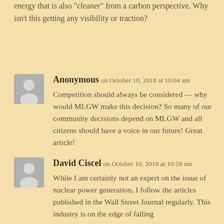energy that is also "cleaner" from a carbon perspective. Why isn't this getting any visibility or traction?
Anonymous on October 10, 2018 at 10:04 am
Competition should always be considered — why would MLGW make this decision? So many of our community decisions depend on MLGW and all citizens should have a voice in our future! Great article!
David Ciscel on October 10, 2018 at 10:59 am
While I am certainly not an expert on the issue of nuclear power generation, I follow the articles published in the Wall Street Journal regularly. This industry is on the edge of falling apart. No one in the US is finding a buyer for a new nuclear power plant.